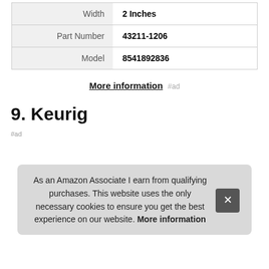| Width | 2 Inches |
| Part Number | 43211-1206 |
| Model | 8541892836 |
More information #ad
9. Keurig
#ad
As an Amazon Associate I earn from qualifying purchases. This website uses the only necessary cookies to ensure you get the best experience on our website. More information